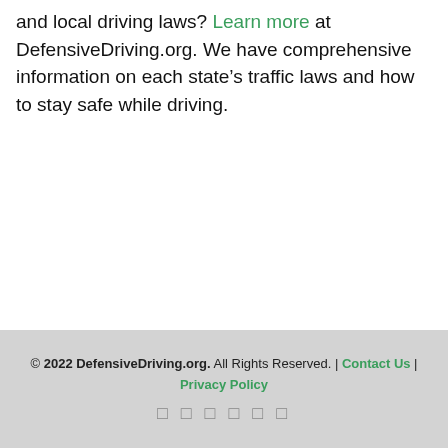and local driving laws? Learn more at DefensiveDriving.org. We have comprehensive information on each state's traffic laws and how to stay safe while driving.
© 2022 DefensiveDriving.org. All Rights Reserved. | Contact Us | Privacy Policy